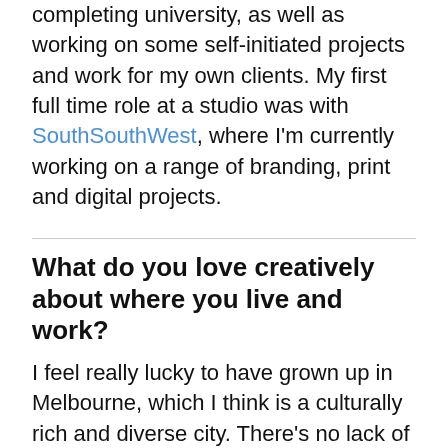completing university, as well as working on some self-initiated projects and work for my own clients. My first full time role at a studio was with SouthSouthWest, where I'm currently working on a range of branding, print and digital projects.
What do you love creatively about where you live and work?
I feel really lucky to have grown up in Melbourne, which I think is a culturally rich and diverse city. There's no lack of creative opportunities, and there's definitely no lack of